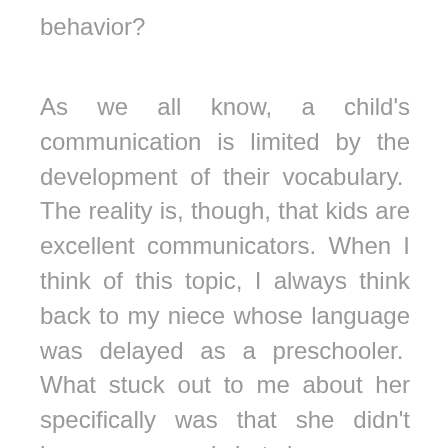behavior?
As we all know, a child's communication is limited by the development of their vocabulary. The reality is, though, that kids are excellent communicators. When I think of this topic, I always think back to my niece whose language was delayed as a preschooler. What stuck out to me about her specifically was that she didn't have many words but she was one of the best little communicators I had ever seen. What she lacked in words she made up for in all kinds of non-verbals. If you paid enough attention to her or